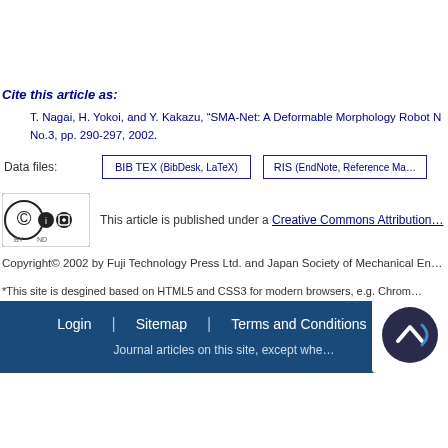Cite this article as:
T. Nagai, H. Yokoi, and Y. Kakazu, “SMA-Net: A Deformable Morphology Robot N... No.3, pp. 290-297, 2002.
Data files:   BIB TEX (BibDesk, LaTeX)   RIS (EndNote, Reference Ma...
This article is published under a Creative Commons Attribution...
Copyright© 2002 by Fuji Technology Press Ltd. and Japan Society of Mechanical En...
*This site is desgined based on HTML5 and CSS3 for modern browsers, e.g. Chrom...
Login | Sitemap | Terms and Conditions |
Journal articles on this site, except whe...